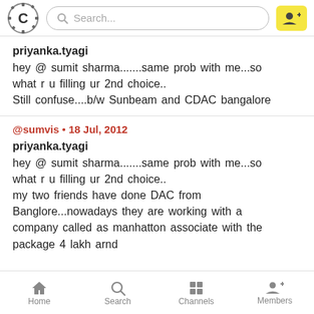Search...
priyanka.tyagi
hey @ sumit sharma.......same prob with me...so what r u filling ur 2nd choice..
Still confuse....b/w Sunbeam and CDAC bangalore
@sumvis • 18 Jul, 2012

priyanka.tyagi
hey @ sumit sharma.......same prob with me...so what r u filling ur 2nd choice..
my two friends have done DAC from Banglore...nowadays they are working with a company called as manhatton associate with the package 4 lakh arnd
Home  Search  Channels  Members